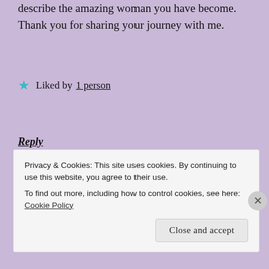describe the amazing woman you have become. Thank you for sharing your journey with me.
★ Liked by 1 person
Reply
barbigelow
October 13, 2015 at 11:32 pm
[Figure (photo): Avatar photo of two people outdoors]
Privacy & Cookies: This site uses cookies. By continuing to use this website, you agree to their use.
To find out more, including how to control cookies, see here: Cookie Policy
Close and accept